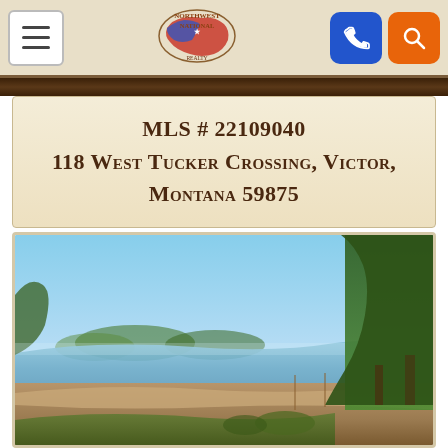Northwest National Realty — Navigation bar with menu, logo, phone, and search buttons
MLS # 22109040
118 West Tucker Crossing, Victor, Montana 59875
[Figure (photo): Outdoor landscape photo showing a river or water body with sandy banks, distant trees and vegetation, tall trees on the right side, and a clear blue sky. Montana rural property setting.]